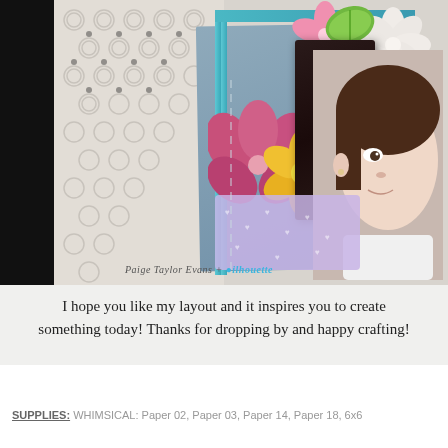[Figure (photo): Scrapbook layout photo showing a child's face on the right, a crochet/knit textile background on the left with black and white pattern, a decorative scrapbook page in the center with floral embellishments (pink, yellow, white flowers), and a purple pocket. Watermark reads 'Paige Taylor Evans + Silhouette' in the lower left of the photo.]
I hope you like my layout and it inspires you to create something today! Thanks for dropping by and happy crafting!
SUPPLIES: WHIMSICAL: Paper 02, Paper 03, Paper 14, Paper 18, 6x6